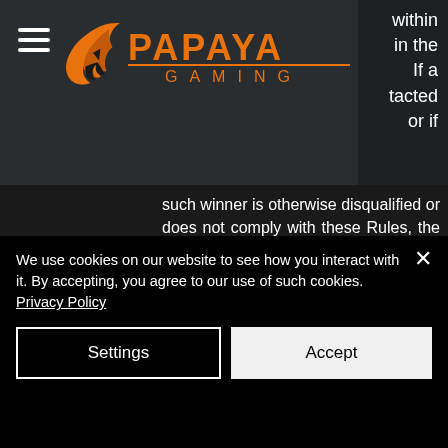Papaya Gaming
within in the If a tacted or if such winner is otherwise disqualified or does not comply with these Rules, the potential winner will be disqualified and forfeit the prize. It is your sole responsibility to notify us in writing if you changed your email address during the Promotion Period. Notwithstanding, no prizes shall be given to any user who is ineligible to participate in the Promotion or fails to comply with these Rules, the Terms of
We use cookies on our website to see how you interact with it. By accepting, you agree to our use of such cookies. Privacy Policy